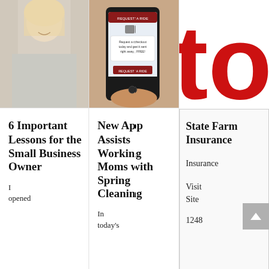[Figure (photo): Blonde woman smiling, wearing grey sweater, reflected in glass]
6 Important Lessons for the Small Business Owner
I opened
[Figure (photo): Person holding a smartphone showing a mobile app with 'Request a Ride' dialog]
New App Assists Working Moms with Spring Cleaning
In today's
[Figure (photo): Red bold letters 'to' on white background, partial view]
State Farm Insurance
Insurance
Visit Site
1248